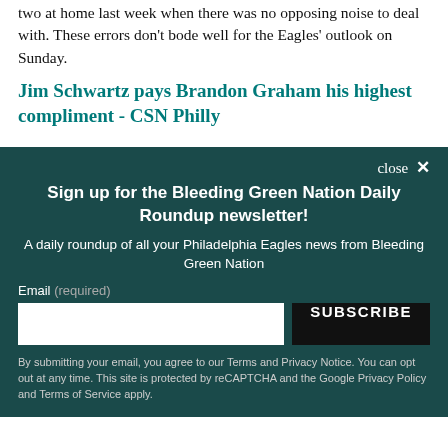two at home last week when there was no opposing noise to deal with. These errors don't bode well for the Eagles' outlook on Sunday.
Jim Schwartz pays Brandon Graham his highest compliment - CSN Philly
close ×
Sign up for the Bleeding Green Nation Daily Roundup newsletter!
A daily roundup of all your Philadelphia Eagles news from Bleeding Green Nation
Email (required)
SUBSCRIBE
By submitting your email, you agree to our Terms and Privacy Notice. You can opt out at any time. This site is protected by reCAPTCHA and the Google Privacy Policy and Terms of Service apply.